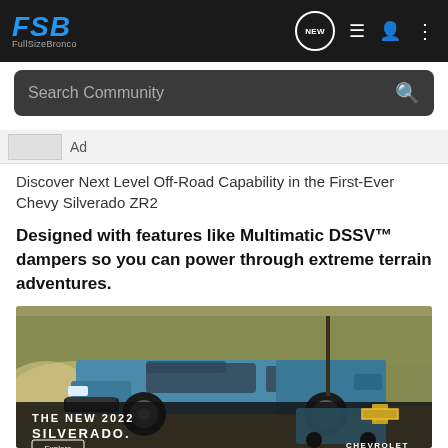FSB FullSizeBronco — navigation bar with NEW, list, user, and menu icons
Search Community
Ad
Discover Next Level Off-Road Capability in the First-Ever Chevy Silverado ZR2
Designed with features like Multimatic DSSV™ dampers so you can power through extreme terrain adventures.
[Figure (photo): Chevy Silverado ZR2 truck driving off-road through dusty terrain with trees in background. Bottom banner reads THE NEW 2022 SILVERADO. with an Explore button and Chevrolet logo.]